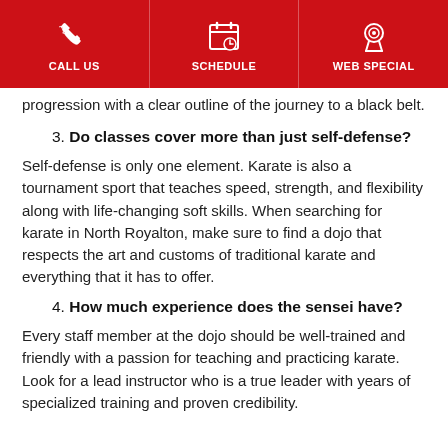CALL US | SCHEDULE | WEB SPECIAL
progression with a clear outline of the journey to a black belt.
3. Do classes cover more than just self-defense?
Self-defense is only one element. Karate is also a tournament sport that teaches speed, strength, and flexibility along with life-changing soft skills. When searching for karate in North Royalton, make sure to find a dojo that respects the art and customs of traditional karate and everything that it has to offer.
4. How much experience does the sensei have?
Every staff member at the dojo should be well-trained and friendly with a passion for teaching and practicing karate. Look for a lead instructor who is a true leader with years of specialized training and proven credibility.